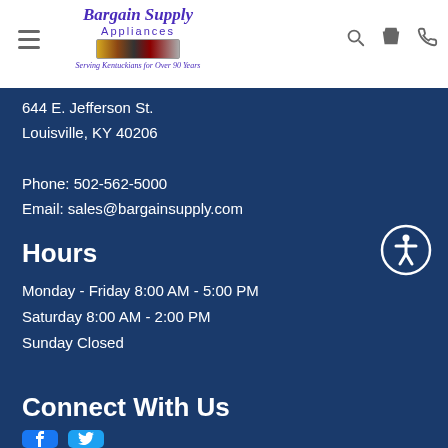[Figure (logo): Bargain Supply Appliances logo with tagline 'Serving Kentuckians for Over 90 Years']
644 E. Jefferson St.
Louisville, KY 40206
Phone: 502-562-5000
Email: sales@bargainsupply.com
Hours
Monday - Friday 8:00 AM - 5:00 PM
Saturday 8:00 AM - 2:00 PM
Sunday Closed
Connect With Us
[Figure (other): Facebook and Twitter social media icons]